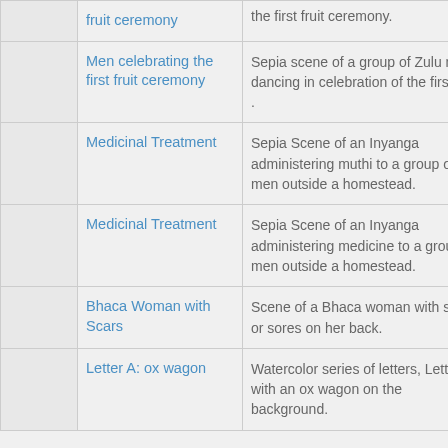|  | Title | Description |
| --- | --- | --- |
|  | fruit ceremony | the first fruit ceremony. |
|  | Men celebrating the first fruit ceremony | Sepia scene of a group of Zulu men dancing in celebration of the first fruit . |
|  | Medicinal Treatment | Sepia Scene of an Inyanga administering muthi to a group of men outside a homestead. |
|  | Medicinal Treatment | Sepia Scene of an Inyanga administering medicine to a group of men outside a homestead. |
|  | Bhaca Woman with Scars | Scene of a Bhaca woman with scars or sores on her back. |
|  | Letter A: ox wagon | Watercolor series of letters, Letter A with an ox wagon on the background. |